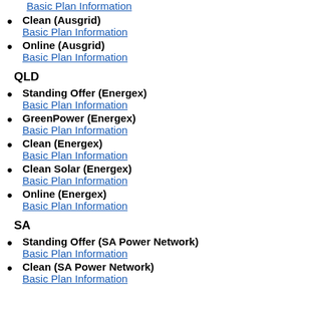Basic Plan Information (link)
Clean (Ausgrid)
Basic Plan Information
Online (Ausgrid)
Basic Plan Information
QLD
Standing Offer (Energex)
Basic Plan Information
GreenPower (Energex)
Basic Plan Information
Clean (Energex)
Basic Plan Information
Clean Solar (Energex)
Basic Plan Information
Online (Energex)
Basic Plan Information
SA
Standing Offer (SA Power Network)
Basic Plan Information
Clean (SA Power Network)
Basic Plan Information (partial)